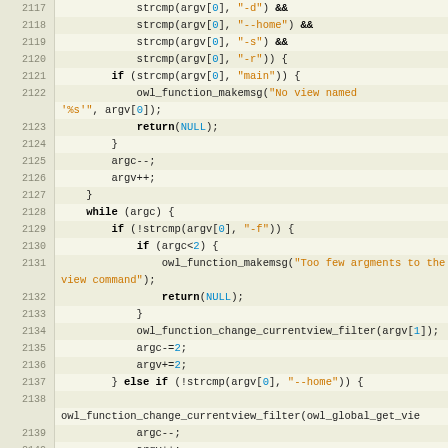[Figure (screenshot): Source code listing in C, showing lines 2117-2145 of a function handling view command arguments, with syntax highlighting. Functions include owl_function_makemsg, owl_function_change_currentview_filter, owl_function_create_negative_filter. Keywords like if, while, else, return, char are bold, string literals in orange, array indices in blue.]